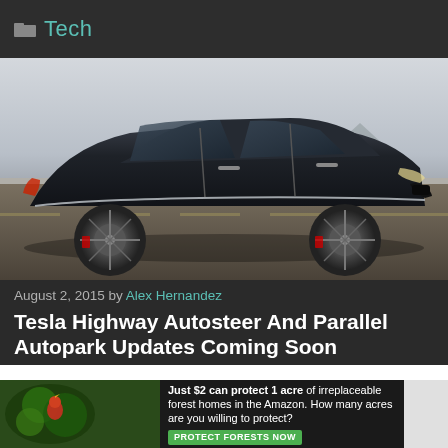Tech
[Figure (photo): Dark navy Tesla Model S electric sedan photographed in motion on a road with mountains in the background, side profile view]
August 2, 2015 by Alex Hernandez
Tesla Highway Autosteer And Parallel Autopark Updates Coming Soon
[Figure (infographic): Advertisement banner: Just $2 can protect 1 acre of irreplaceable forest homes in the Amazon. How many acres are you willing to protect? PROTECT FORESTS NOW]